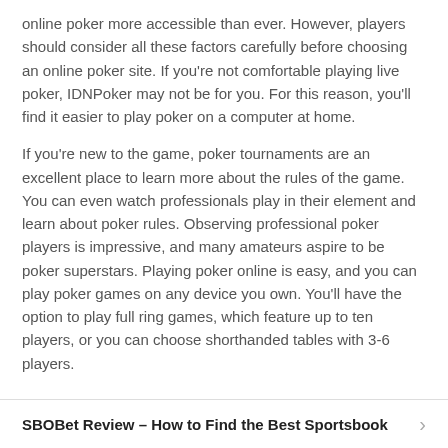online poker more accessible than ever. However, players should consider all these factors carefully before choosing an online poker site. If you're not comfortable playing live poker, IDNPoker may not be for you. For this reason, you'll find it easier to play poker on a computer at home.
If you're new to the game, poker tournaments are an excellent place to learn more about the rules of the game. You can even watch professionals play in their element and learn about poker rules. Observing professional poker players is impressive, and many amateurs aspire to be poker superstars. Playing poker online is easy, and you can play poker games on any device you own. You'll have the option to play full ring games, which feature up to ten players, or you can choose shorthanded tables with 3-6 players.
SBOBet Review – How to Find the Best Sportsbook
How Volatility Affects Online Slots